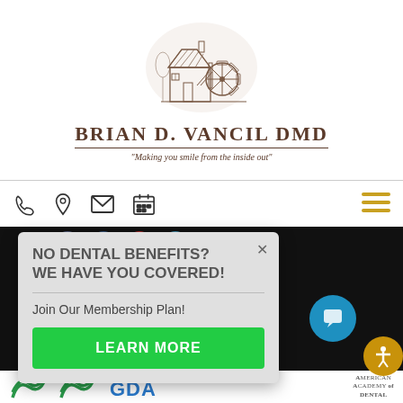[Figure (logo): Watermill / gristmill illustration in sepia/brown tones above the practice name]
BRIAN D. VANCIL DMD
"Making you smile from the inside out"
[Figure (infographic): Navigation bar with phone, location pin, envelope, and calendar icons on the left and a hamburger menu (golden lines) on the right]
NO DENTAL BENEFITS?
WE HAVE YOU COVERED!
Join Our Membership Plan!
LEARN MORE
[Figure (logo): American Academy of Dental logo partially visible at bottom right]
AMERICAN
ACADEMY OF
DENTAL